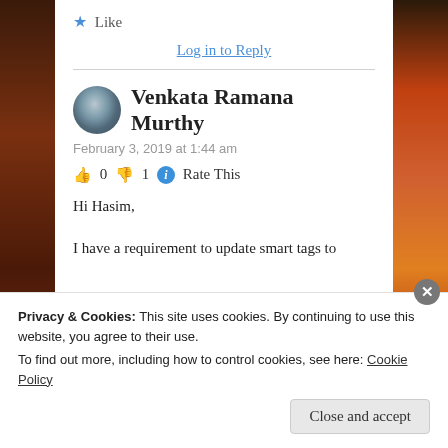★ Like
Log in to Reply
Venkata Ramana Murthy
February 3, 2019 at 1:44 am
👍 0 👎 1 ℹ Rate This
Hi Hasim,
I have a requirement to update smart tags to
Privacy & Cookies: This site uses cookies. By continuing to use this website, you agree to their use. To find out more, including how to control cookies, see here: Cookie Policy
Close and accept